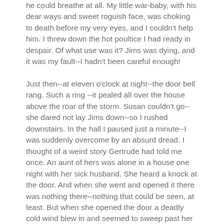he could breathe at all. My little war-baby, with his dear ways and sweet roguish face, was choking to death before my very eyes, and I couldn't help him. I threw down the hot poultice I had ready in despair. Of what use was it? Jims was dying, and it was my fault--I hadn't been careful enough!
Just then--at eleven o'clock at night--the door bell rang. Such a ring --it pealed all over the house above the roar of the storm. Susan couldn't go--she dared not lay Jims down--so I rushed downstairs. In the hall I paused just a minute--I was suddenly overcome by an absurd dread. I thought of a weird story Gertrude had told me once. An aunt of hers was alone in a house one night with her sick husband. She heard a knock at the door. And when she went and opened it there was nothing there--nothing that could be seen, at least. But when she opened the door a deadly cold wind blew in and seemed to sweep past her right up the stairs, although it was a